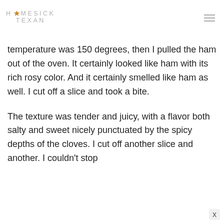HOMESICK TEXAN
temperature was 150 degrees, then I pulled the ham out of the oven. It certainly looked like ham with its rich rosy color. And it certainly smelled like ham as well. I cut off a slice and took a bite.
The texture was tender and juicy, with a flavor both salty and sweet nicely punctuated by the spicy depths of the cloves. I cut off another slice and another. I couldn't stop